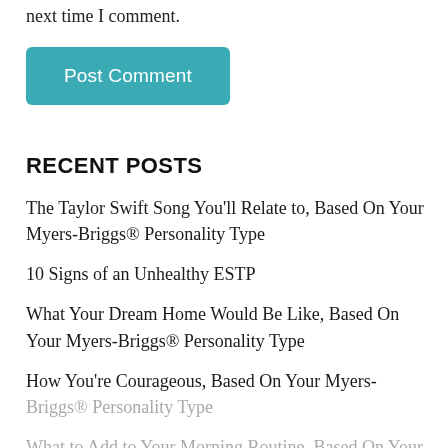next time I comment.
Post Comment
RECENT POSTS
The Taylor Swift Song You'll Relate to, Based On Your Myers-Briggs® Personality Type
10 Signs of an Unhealthy ESTP
What Your Dream Home Would Be Like, Based On Your Myers-Briggs® Personality Type
How You're Courageous, Based On Your Myers-Briggs® Personality Type
What to Add to Your Morning Routine, Based On Your